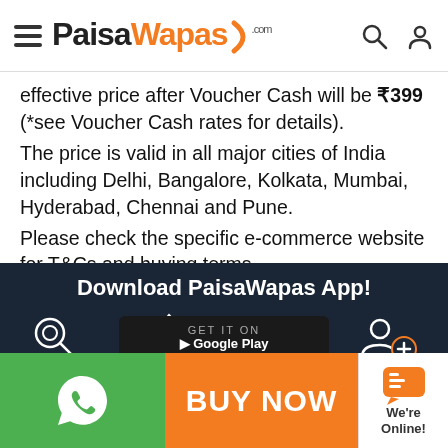PaisaWapas.com
effective price after Voucher Cash will be ₹399 (*see Voucher Cash rates for details). The price is valid in all major cities of India including Delhi, Bangalore, Kolkata, Mumbai, Hyderabad, Chennai and Pune. Please check the specific e-commerce website for T&Cs and buying terms.
Download PaisaWapas App!
[Figure (infographic): Four icons with labels: Single Access Point for All Online Stores (key icon), Latest & Exclusive Offers & Deals for You (badge/percent icon), Fast and Easy Cashback Experience (wallet icon), Refer your friend and Earn Money (people plus icon)]
[Figure (screenshot): GET IT ON Google Play button partially visible]
BUY NOW
We're Online!